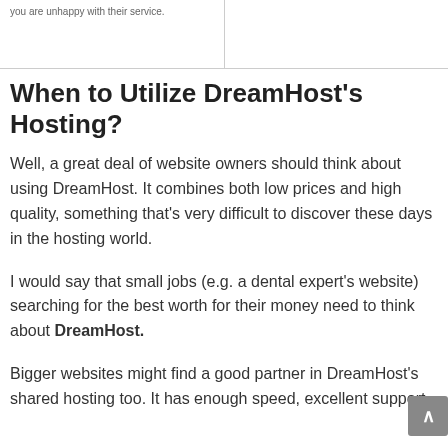| you are unhappy with their service. |  |
When to Utilize DreamHost's Hosting?
Well, a great deal of website owners should think about using DreamHost. It combines both low prices and high quality, something that's very difficult to discover these days in the hosting world.
I would say that small jobs (e.g. a dental expert's website) searching for the best worth for their money need to think about DreamHost.
Bigger websites might find a good partner in DreamHost's shared hosting too. It has enough speed, excellent support